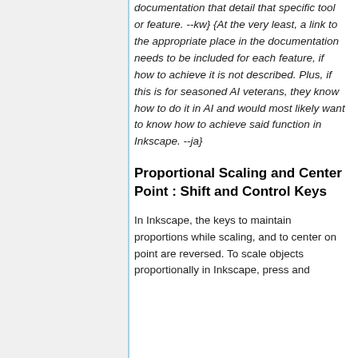documentation that detail that specific tool or feature. --kw} {At the very least, a link to the appropriate place in the documentation needs to be included for each feature, if how to achieve it is not described. Plus, if this is for seasoned AI veterans, they know how to do it in AI and would most likely want to know how to achieve said function in Inkscape. --ja}
Proportional Scaling and Center Point : Shift and Control Keys
In Inkscape, the keys to maintain proportions while scaling, and to center on point are reversed. To scale objects proportionally in Inkscape, press and